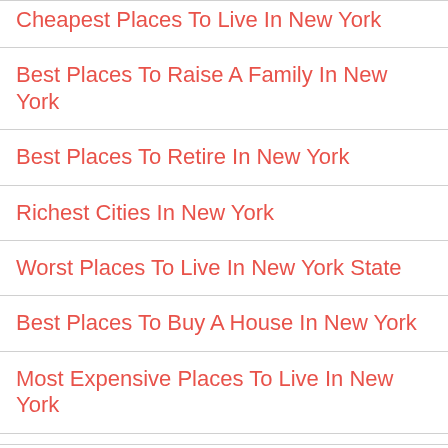Cheapest Places To Live In New York
Best Places To Raise A Family In New York
Best Places To Retire In New York
Richest Cities In New York
Worst Places To Live In New York State
Best Places To Buy A House In New York
Most Expensive Places To Live In New York
Safest Cities By State
Safest Places in Alabama